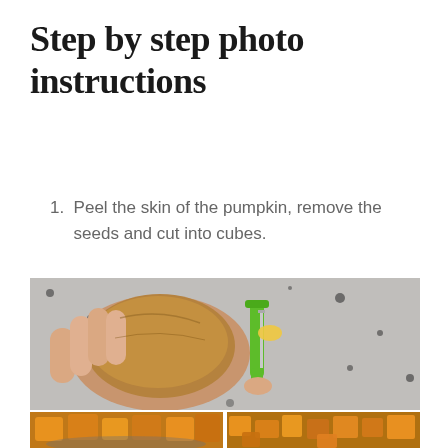Step by step photo instructions
1. Peel the skin of the pumpkin, remove the seeds and cut into cubes.
[Figure (photo): Hands peeling a whole pumpkin/butternut squash with a green Y-peeler on a granite countertop]
[Figure (photo): Cubed butternut squash pieces in a bowl]
[Figure (photo): Cubed butternut squash pieces spread on a surface]